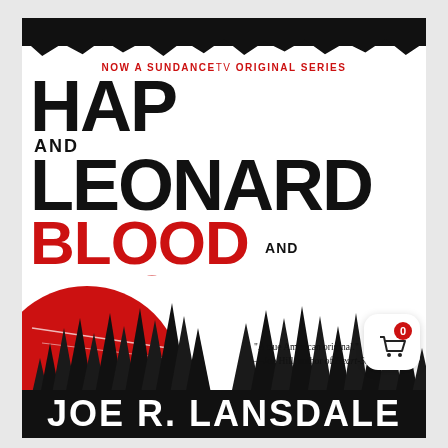[Figure (illustration): Book cover for 'Hap and Leonard: Blood and Lemonade' by Joe R. Lansdale. Black and white distressed typography with red accents. Features a red sun and black pine tree silhouette scene at the bottom. Top banner reads 'NOW A SUNDANCETV ORIGINAL SERIES'. Quote from Joe Hill: 'A true American original.' — Joe Hill, author of Heart-Shaped. Author name at bottom: JOE R. LANSDALE.]
NOW A SUNDANCETV ORIGINAL SERIES
HAP AND LEONARD BLOOD AND LEMONADE
"A true American original." —Joe Hill, author of Heart-Shaped
JOE R. LANSDALE